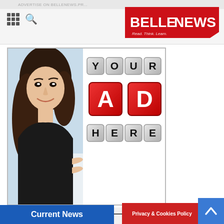ADVERTISE ON BELLENEWS.PR... | BELLENEWS — Read. Think. Learn.
[Figure (illustration): Advertisement placeholder image showing a woman peeking from behind a sign with large letter blocks spelling 'YOUR AD HERE', with red blocks for 'AD'. White background on the right side of the image.]
Current News
Privacy & Cookies Policy